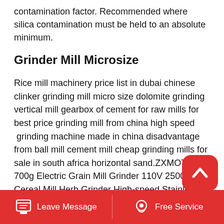contamination factor. Recommended where silica contamination must be held to an absolute minimum.
Grinder Mill Microsize
Rice mill machinery price list in dubai chinese clinker grinding mill micro size dolomite grinding vertical mill gearbox of cement for raw mills for best price grinding mill from china high speed grinding machine made in china disadvantage from ball mill cement mill cheap grinding mills for sale in south africa horizontal sand.ZXMOTO 700g Electric Grain Mill Grinder 110V 2500W Cereal Mill Herb Grinder High-speed Stainless Steel Pulverizer Grinder Food Mill Herb Grinder Grinding
[Figure (other): Red rounded square scroll-to-top button with white chevron/arrow icon pointing upward]
Leave Message   Free Service